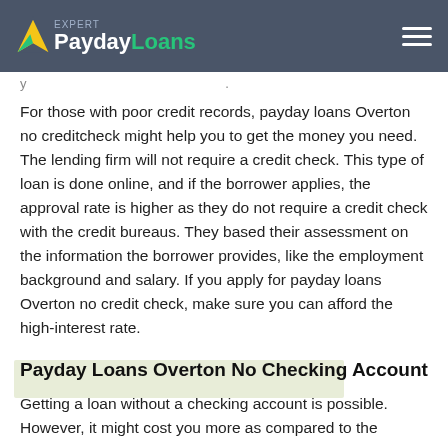Expert PaydayLoans
For those with poor credit records, payday loans Overton no creditcheck might help you to get the money you need. The lending firm will not require a credit check. This type of loan is done online, and if the borrower applies, the approval rate is higher as they do not require a credit check with the credit bureaus. They based their assessment on the information the borrower provides, like the employment background and salary. If you apply for payday loans Overton no credit check, make sure you can afford the high-interest rate.
Payday Loans Overton No Checking Account
Getting a loan without a checking account is possible. However, it might cost you more as compared to the